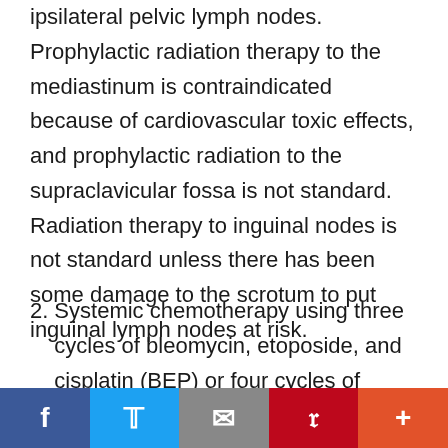ipsilateral pelvic lymph nodes. Prophylactic radiation therapy to the mediastinum is contraindicated because of cardiovascular toxic effects, and prophylactic radiation to the supraclavicular fossa is not standard. Radiation therapy to inguinal nodes is not standard unless there has been some damage to the scrotum to put inguinal lymph nodes at risk.
2. Systemic chemotherapy using three cycles of bleomycin, etoposide, and cisplatin (BEP) or four cycles of etoposide and cisplatin. This
f  y  ✉  p  +